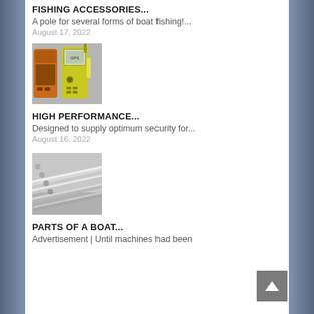FISHING ACCESSORIES...
A pole for several forms of boat fishing!...
August 17, 2022
[Figure (photo): GPS handheld devices - orange and yellow colored GPS units side by side against a gray background]
HIGH PERFORMANCE...
Designed to supply optimum security for...
August 16, 2022
[Figure (photo): Metal fishing rods or boat rails - stainless steel poles arranged diagonally on a light surface]
PARTS OF A BOAT...
Advertisement | Until machines had been